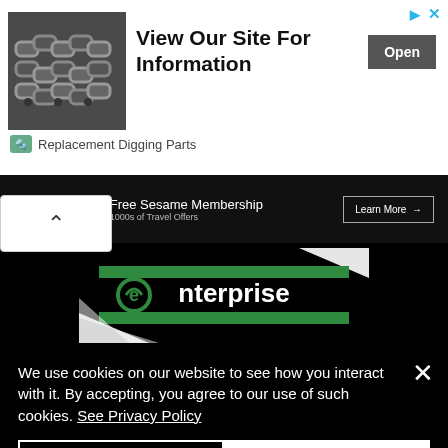[Figure (infographic): Advertisement banner: image of metal chain/digging parts on left, text 'View Our Site For Information' in center, 'Open' button on right, 'Replacement Digging Parts' label at bottom, ad icons top right]
[Figure (screenshot): Sesame membership offer bar: Sesame logo in italic serif font, 'Free Sesame Membership 1000s of Travel Offers' text, 'Learn More →' button]
[Figure (logo): Enterprise car rental logo on black background with green and white design]
We use cookies on our website to see how you interact with it. By accepting, you agree to our use of such cookies. See Privacy Policy
Decline All
Accept
Cookie Settings